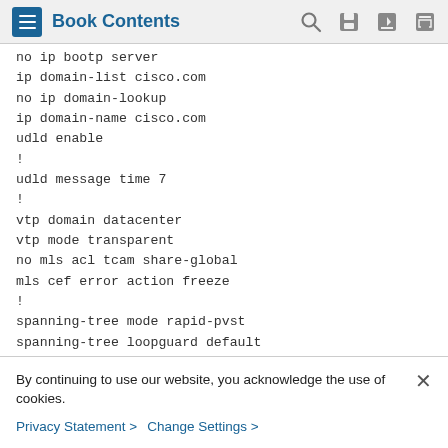Book Contents
no ip bootp server
 ip domain-list cisco.com
 no ip domain-lookup
 ip domain-name cisco.com
 udld enable
 !
 udld message time 7
 !
 vtp domain datacenter
 vtp mode transparent
 no mls acl tcam share-global
 mls cef error action freeze
 !
 spanning-tree mode rapid-pvst
 spanning-tree loopguard default
By continuing to use our website, you acknowledge the use of cookies.
Privacy Statement > Change Settings >